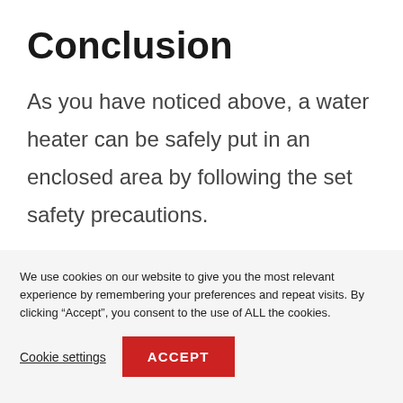Conclusion
As you have noticed above, a water heater can be safely put in an enclosed area by following the set safety precautions.
We use cookies on our website to give you the most relevant experience by remembering your preferences and repeat visits. By clicking “Accept”, you consent to the use of ALL the cookies.